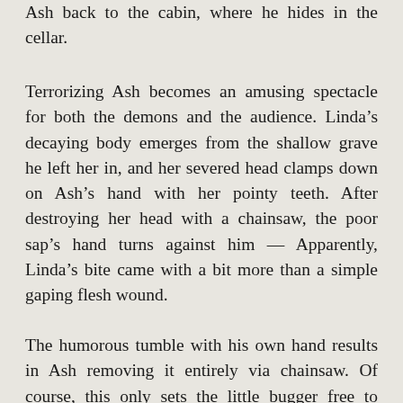Ash back to the cabin, where he hides in the cellar.
Terrorizing Ash becomes an amusing spectacle for both the demons and the audience. Linda’s decaying body emerges from the shallow grave he left her in, and her severed head clamps down on Ash’s hand with her pointy teeth. After destroying her head with a chainsaw, the poor sap’s hand turns against him — Apparently, Linda’s bite came with a bit more than a simple gaping flesh wound.
The humorous tumble with his own hand results in Ash removing it entirely via chainsaw. Of course, this only sets the little bugger free to scamper off. After taunting